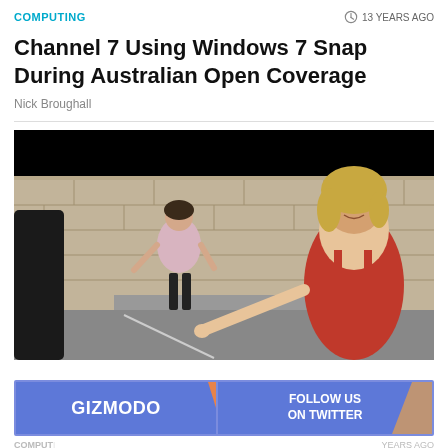COMPUTING
13 YEARS AGO
Channel 7 Using Windows 7 Snap During Australian Open Coverage
Nick Broughall
[Figure (photo): Outdoor news interview scene with two women on a street in front of a stone wall, one in a pink top and one in a red sleeveless top, the latter pointing toward the camera]
[Figure (infographic): Gizmodo Follow Us On Twitter promotional banner ad in blue with orange diagonal stripe accent]
COMPUTING
YEARS AGO
Emira...